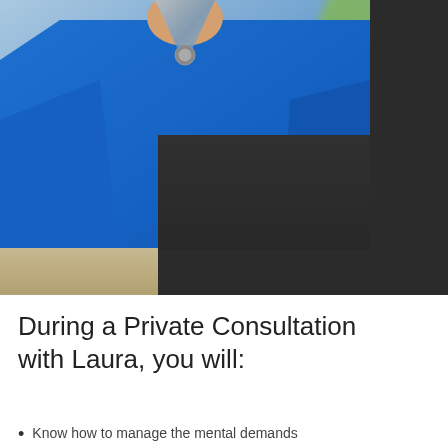[Figure (photo): A woman wearing a royal blue V-neck long-sleeve top and a heart-shaped necklace, sitting at a wooden table. The background is blurred with green foliage. A dark charcoal/black rectangular overlay partially covers the right and upper-right area of the photo.]
During a Private Consultation with Laura, you will:
Know how to manage the mental demands